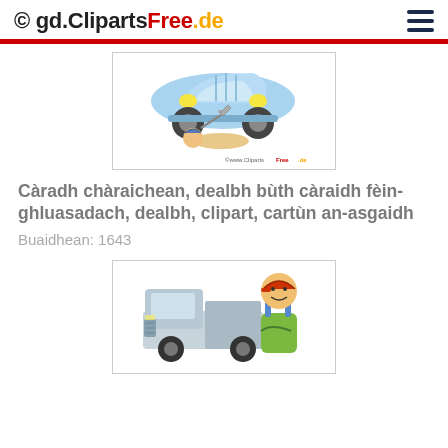© gd.ClipartsFree.de
[Figure (illustration): Clipart of a mechanic lying under a blue car, fixing it with tools. Watermark: ©www.ClipartsFree.de]
Càradh chàraichean, dealbh bùth càraidh fèin-ghluasadach, dealbh, clipart, cartùn an-asgaidh
Buaidhean: 1643
[Figure (illustration): Clipart of a smiling mechanic in a yellow-green vest and red cap, standing in front of a silver pickup truck with arms crossed.]